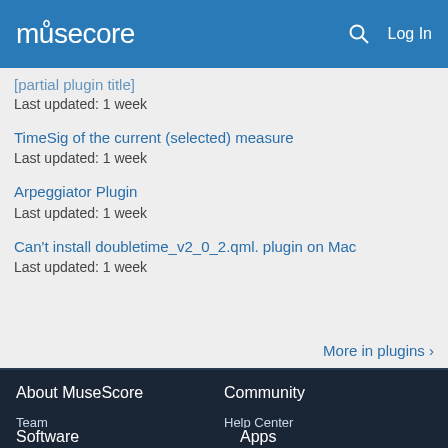musescore  Log In
[partial plugin title]
Last updated: 1 week
TimeSig of the current (selected) measure
Last updated: 1 week
Arpeggiator Plugin
Last updated: 1 week
Can't install doubletime_v2_0_2.qml. plugin on Mac
Last updated: 1 week
More in plugins ›
About MuseScore
Team
Jobs
Press
Contact us
Community
Help Center
Community Guidelines
Report abuse
Software
Apps